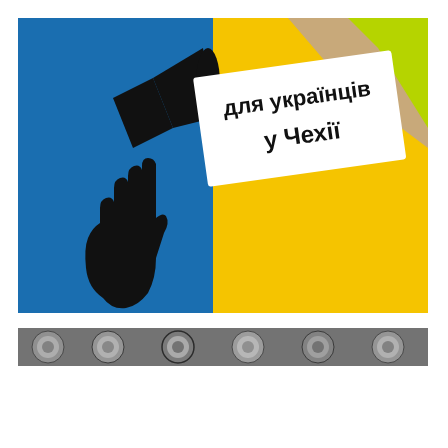[Figure (illustration): Graphic with Ukrainian flag colors (blue and yellow). Left side has a blue background with a black silhouette of a raised fist holding a megaphone. Right side has a yellow rectangle with a white angled label/sign in black bold text reading 'для українців у Чехії' (for Ukrainians in Czechia). Upper right corner shows a partial map shape in yellow-green.]
[Figure (photo): Narrow horizontal strip photo in black and white/grayscale showing a close-up of what appears to be coins or metallic circular objects.]